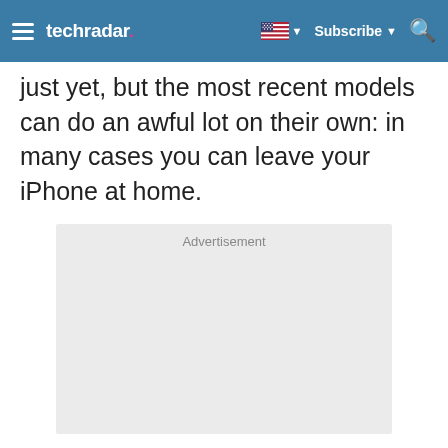techradar — Subscribe
just yet, but the most recent models can do an awful lot on their own: in many cases you can leave your iPhone at home.
[Figure (other): Advertisement placeholder box with grey background and 'Advertisement' label at top center]